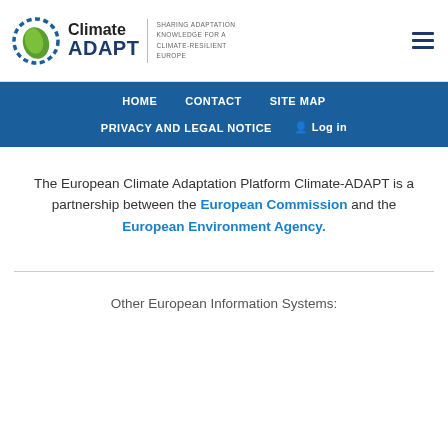[Figure (logo): Climate-ADAPT logo with circular leaf/arrows icon, text 'Climate ADAPT', vertical divider, tagline 'SHARING ADAPTATION KNOWLEDGE FOR A CLIMATE-RESILIENT EUROPE']
HOME  CONTACT  SITE MAP  PRIVACY AND LEGAL NOTICE  Log in
The European Climate Adaptation Platform Climate-ADAPT is a partnership between the European Commission and the European Environment Agency.
Other European Information Systems: